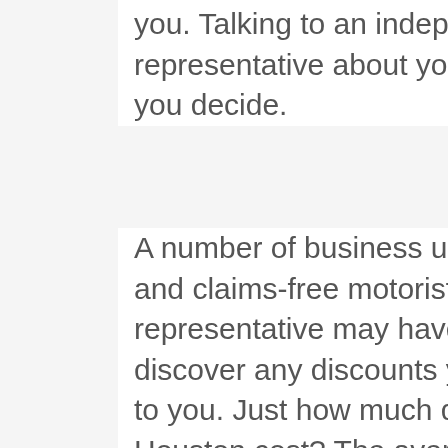you. Talking to an independent insurance coverage representative about your needs may likewise help you decide.
A number of business use discount rates to students and claims-free motorists. Your insurance representative may have the ability to assist you discover any discounts you missed that would apply to you. Just how much does automobile insurance in Houston cost? The average cost of vehicle insurance coverage in Houston is $2,146 per year for complete protection, or about $179 per month, according to Bankrate's study of estimated yearly